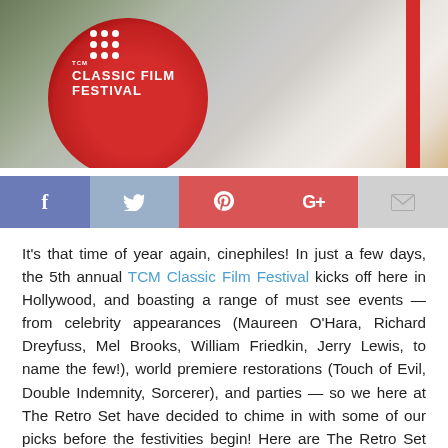[Figure (photo): Photo of TCM Classic Film Festival banner/sign with red oval logo, white dots, and festival text on a grey and green background with a red stripe on the right side.]
[Figure (infographic): Social media sharing buttons bar: Facebook (blue), Twitter (light blue), Pinterest (red), Google+ (red), Email (grey)]
It's that time of year again, cinephiles! In just a few days, the 5th annual TCM Classic Film Festival kicks off here in Hollywood, and boasting a range of must see events — from celebrity appearances (Maureen O'Hara, Richard Dreyfuss, Mel Brooks, William Friedkin, Jerry Lewis, to name the few!), world premiere restorations (Touch of Evil, Double Indemnity, Sorcerer), and parties — so we here at The Retro Set have decided to chime in with some of our picks before the festivities begin! Here are The Retro Set editors Drew Morton, Jill Blake, and Carley Johnson with their top 5 can't-miss festival